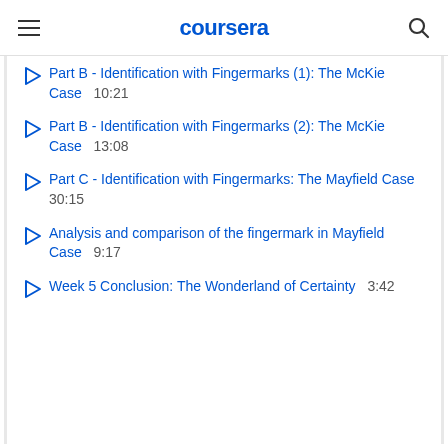coursera
Part B - Identification with Fingermarks (1): The McKie Case  10:21
Part B - Identification with Fingermarks (2): The McKie Case  13:08
Part C - Identification with Fingermarks: The Mayfield Case  30:15
Analysis and comparison of the fingermark in Mayfield Case  9:17
Week 5 Conclusion: The Wonderland of Certainty  3:42